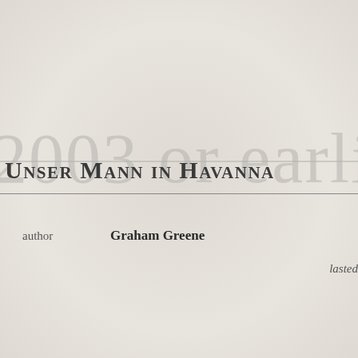2003 or earlier
Unser Mann in Havanna
author   Graham Greene
lasted